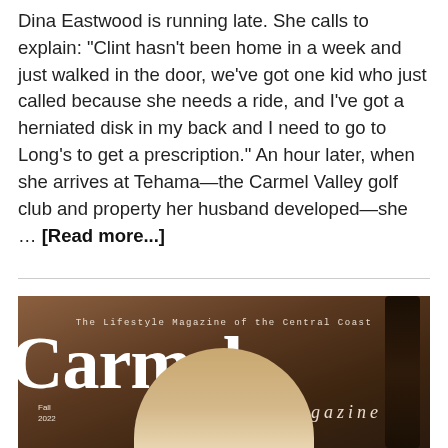Dina Eastwood is running late. She calls to explain: "Clint hasn't been home in a week and just walked in the door, we've got one kid who just called because she needs a ride, and I've got a herniated disk in my back and I need to go to Long's to get a prescription." An hour later, when she arrives at Tehama—the Carmel Valley golf club and property her husband developed—she … [Read more...]
[Figure (photo): Cover of Carmel Magazine, Fall 2022 issue. Shows a person with blonde hair against a dark brown/warm background with a guitar visible on the right side. Text reads 'The Lifestyle Magazine of the Central Coast' and 'Carmel magazine' with 'Fall 2022' in the lower left.]